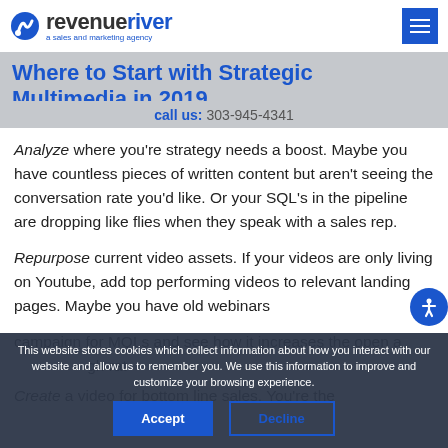revenueriver - a sales and marketing agency
Where to Start with Strategic Multimedia in 2019
call us: 303-945-4341
Analyze where you're strategy needs a boost. Maybe you have countless pieces of written content but aren't seeing the conversation rate you'd like. Or your SQL's in the pipeline are dropping like flies when they speak with a sales rep.
Repurpose current video assets. If your videos are only living on Youtube, add top performing videos to relevant landing pages. Maybe you have old webinars that could be repurposed into a drip email campaign for MQLs and see how it increases the open and click through rate.
Create a video for bottom line sales. You're the
This website stores cookies which collect information about how you interact with our website and allow us to remember you. We use this information to improve and customize your browsing experience.
Accept  Decline